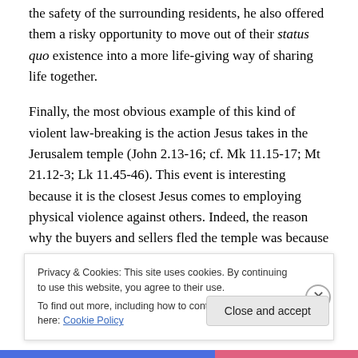the safety of the surrounding residents, he also offered them a risky opportunity to move out of their status quo existence into a more life-giving way of sharing life together.
Finally, the most obvious example of this kind of violent law-breaking is the action Jesus takes in the Jerusalem temple (John 2.13-16; cf. Mk 11.15-17; Mt 21.12-3; Lk 11.45-46). This event is interesting because it is the closest Jesus comes to employing physical violence against others. Indeed, the reason why the buyers and sellers fled the temple was because of the perception that
Privacy & Cookies: This site uses cookies. By continuing to use this website, you agree to their use.
To find out more, including how to control cookies, see here: Cookie Policy
Close and accept